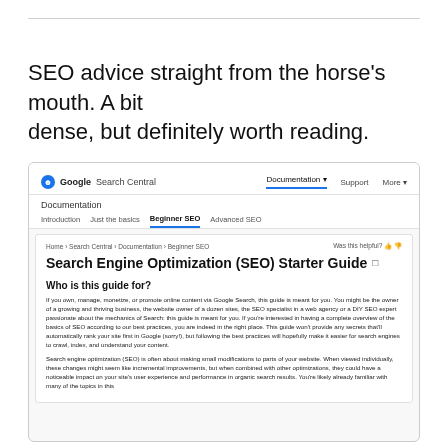SEO advice straight from the horse's mouth. A bit dense, but definitely worth reading.
[Figure (screenshot): Screenshot of Google Search Central website showing the SEO Starter Guide page. The page includes a navigation bar with 'Google Search Central', Documentation, Support, More links. Below is a Documentation sub-nav with tabs: Introduction, Just the basics, Beginner SEO (active), Advanced SEO. The content area shows the page title 'Search Engine Optimization (SEO) Starter Guide', a section 'Who is this guide for?' with body text about owning/managing/promoting content via Google Search, and a second paragraph beginning about search engine optimization being about small modifications.]